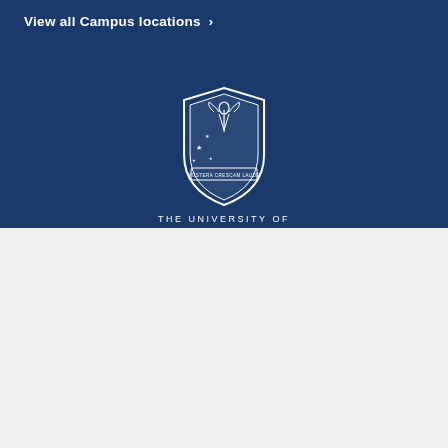View all Campus locations >
[Figure (logo): University crest/shield logo with angel figure and stars, with text THE UNIVERSITY OF below]
This site uses and shares cookies and similar technologies to personalise your experience, advertise to you and provide content from third-parties as well as analyse our usage. You consent to our use of such technologies by proceeding. You can change your mind or consent choices at any time. Visit our Privacy Statement for further information.
Accept cookies
Cookie Preferences